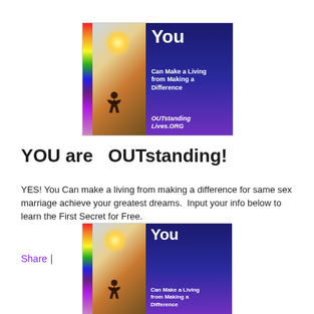[Figure (illustration): Promotional banner for OUTstandingLives.ORG showing a rainbow and sunset beach scene on the left with a silhouette of a person jumping, and dark blue/purple right side with text: You Can Make a Living from Making a Difference, OUTstanding Lives.ORG]
YOU are   OUTstanding!
YES! You Can make a living from making a difference for same sex marriage achieve your greatest dreams.  Input your info below to learn the First Secret for Free.
Share |
[Figure (illustration): Second promotional banner for OUTstandingLives.ORG, partially visible, same design: rainbow beach scene left, dark blue/purple right with text: You Can Make a Living from Making a Difference]